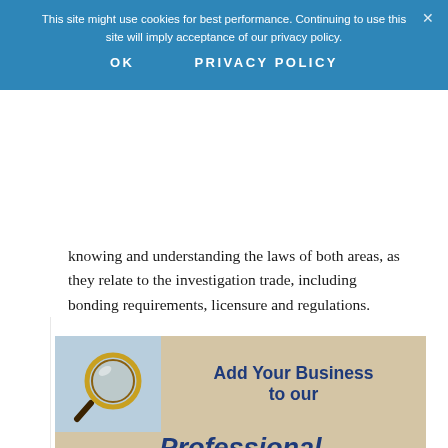This site might use cookies for best performance. Continuing to use this site will imply acceptance of our privacy policy.
OK    PRIVACY POLICY
knowing and understanding the laws of both areas, as they relate to the investigation trade, including bonding requirements, licensure and regulations.
[Figure (infographic): Advertisement banner with magnifying glass icon on blue background and text 'Add Your Business to our Professional Investigator' on tan/beige background with dark navy bold italic text.]